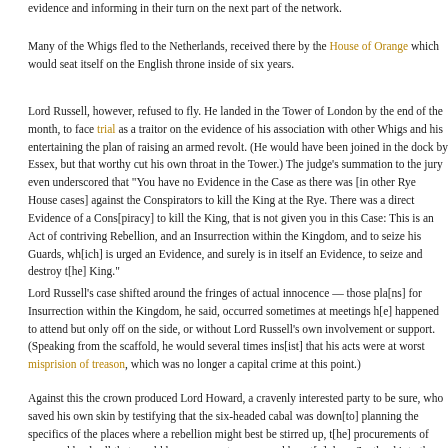evidence and informing in their turn on the next part of the network.
Many of the Whigs fled to the Netherlands, received there by the House of Orange which would seat itself on the English throne inside of six years.
Lord Russell, however, refused to fly. He landed in the Tower of London by the end of the month, to face trial as a traitor on the evidence of his association with other Whigs and his entertaining the plan of raising an armed revolt. (He would have been joined in the dock by Essex, but that worthy cut his own throat in the Tower.) The judge's summation to the jury even underscored that "You have no Evidence in the Case as there was [in other Rye House cases] against the Conspirators to kill the King at the Rye. There was a direct Evidence of a Cons[piracy] to kill the King, that is not given you in this Case: This is an Act of contriving Rebellion, and an Insurrection within the Kingdom, and to seize his Guards, wh[ich] is urged an Evidence, and surely is in itself an Evidence, to seize and destroy t[he] King."
Lord Russell's case shifted around the fringes of actual innocence — those pla[ns] for Insurrection within the Kingdom, he said, occurred sometimes at meetings h[e] happened to attend but only off on the side, or without Lord Russell's own involvement or support. (Speaking from the scaffold, he would several times ins[ist] that his acts were at worst misprision of treason, which was no longer a capital crime at this point.)
Against this the crown produced Lord Howard, a cravenly interested party to be sure, who saved his own skin by testifying that the six-headed cabal was down[to] planning the specifics of the places where a rebellion might best be stirred up, t[he] procurements of arms and bankroll that would be necessary to same, and how t[o] draw Scotland into the fray as an ally. "Every one knows my Lord Russell is a Person of great Judgment, and not very lavish in Discourse," Howard allowed o[n] the point of Russell's active assent to the plans. "We did not put it to the Vote."